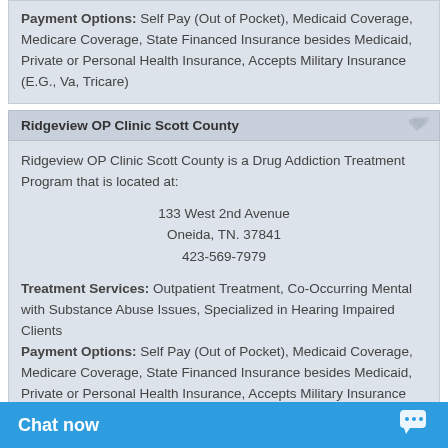Payment Options: Self Pay (Out of Pocket), Medicaid Coverage, Medicare Coverage, State Financed Insurance besides Medicaid, Private or Personal Health Insurance, Accepts Military Insurance (E.G., Va, Tricare)
Ridgeview OP Clinic Scott County
Ridgeview OP Clinic Scott County is a Drug Addiction Treatment Program that is located at: 133 West 2nd Avenue, Oneida, TN. 37841, 423-569-7979
Treatment Services: Outpatient Treatment, Co-Occurring Mental with Substance Abuse Issues, Specialized in Hearing Impaired Clients Payment Options: Self Pay (Out of Pocket), Medicaid Coverage, Medicare Coverage, State Financed Insurance besides Medicaid, Private or Personal Health Insurance, Accepts Military Insurance (E.G., Va, Tricare)
Professional Care Services Inc
Professional Care Services Inc is a Drug Addiction Treatment Program that is located at: